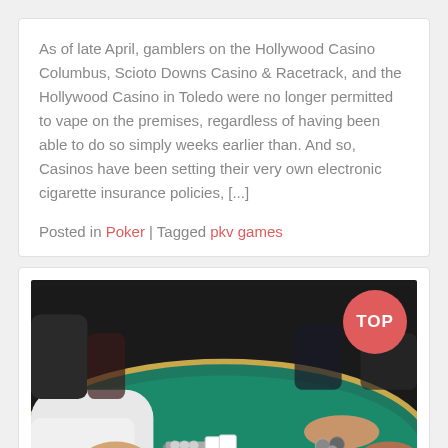As of late April, gamblers on the Hollywood Casino Columbus, Scioto Downs Casino & Racetrack, and the Hollywood Casino in Toledo were no longer permitted to vape on the premises, regardless of having been able to do so simply weeks earlier than. And so, Casinos have been setting their very own electronic cigarette insurance policies, [...]
Posted in Poker | Tagged pkv games
[Figure (photo): Photo of a poker table with a green felt surface. Multiple players' hands are visible around the table, with poker chips. A dealer in a white shirt is on the left. A red circular 'TOP' badge is in the upper right corner of the image.]